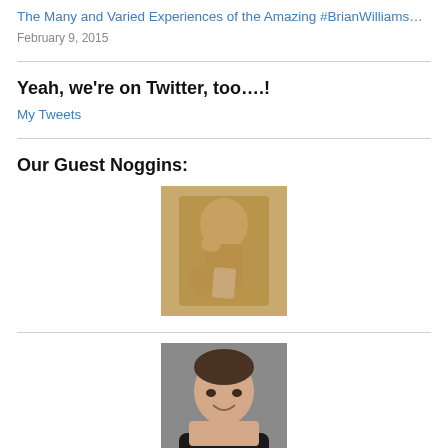The Many and Varied Experiences of the Amazing #BrianWilliams…
February 9, 2015
Yeah, we're on Twitter, too….!
My Tweets
Our Guest Noggins:
[Figure (photo): A golden/bronze statue of a pensive figure resting chin on hand, seated]
[Figure (photo): Headshot of a smiling man with dark hair against a grey background]